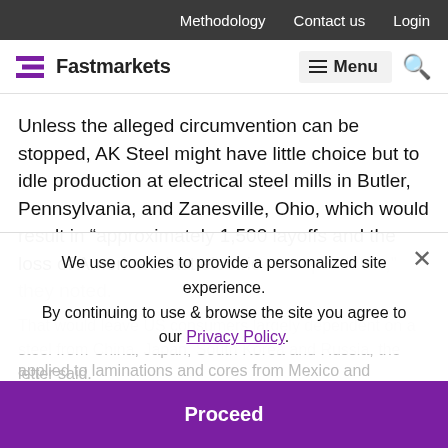Methodology  Contact us  Login
Fastmarkets  Menu (hamburger)  Search
Unless the alleged circumvention can be stopped, AK Steel might have little choice but to idle production at electrical steel mills in Butler, Pennsylvania, and Zanesville, Ohio, which would result in “approximately 1,500 layoffs and the loss of America’s last electric steel producer,” they noted.
That would leave US consumers largely dependent on a steel from China, Japan, South Korea and Russia, the letter said.
We use cookies to provide a personalized site experience.
By continuing to use & browse the site you agree to our Privacy Policy.
Proceed
applied to laminations and cores from Mexico and